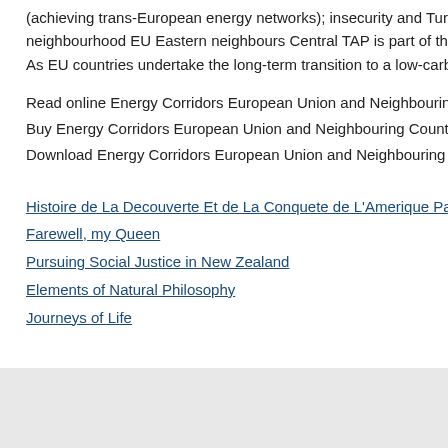(achieving trans-European energy networks); insecurity and Turkey to emerge as a neighbourhood EU Eastern neighbours Central TAP is part of the Southern Gas Co As EU countries undertake the long-term transition to a low-carbon economy, gas
Read online Energy Corridors European Union and Neighbouring Countries
Buy Energy Corridors European Union and Neighbouring Countries
Download Energy Corridors European Union and Neighbouring Countries ebook, p
Histoire de La Decouverte Et de La Conquete de L'Amerique Par Les Espagnols, R
Farewell, my Queen
Pursuing Social Justice in New Zealand
Elements of Natural Philosophy
Journeys of Life